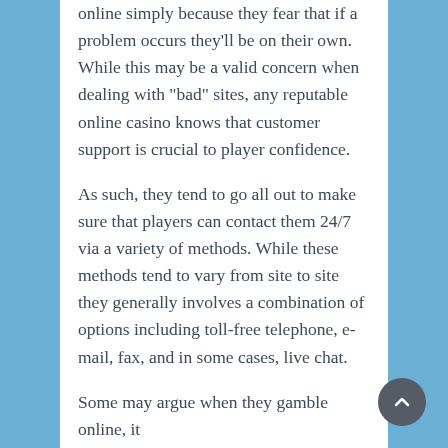Some gamblers avoid the option to gamble online simply because they fear that if a problem occurs they'll be on their own. While this may be a valid concern when dealing with “bad” sites, any reputable online casino knows that customer support is crucial to player confidence.
As such, they tend to go all out to make sure that players can contact them 24/7 via a variety of methods. While these methods tend to vary from site to site they generally involves a combination of options including toll-free telephone, e-mail, fax, and in some cases, live chat.
Some may argue when they gamble online, it